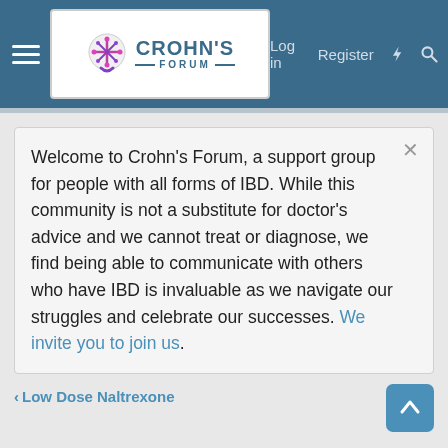Crohn's Forum — Log in | Register
Welcome to Crohn's Forum, a support group for people with all forms of IBD. While this community is not a substitute for doctor's advice and we cannot treat or diagnose, we find being able to communicate with others who have IBD is invaluable as we navigate our struggles and celebrate our successes. We invite you to join us.
Low Dose Naltrexone